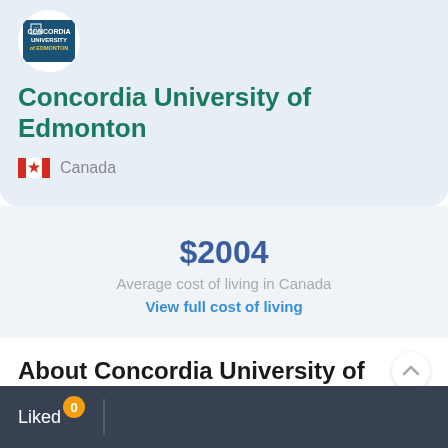[Figure (logo): Concordia University of Edmonton logo in a white circle]
Concordia University of Edmonton
Canada
$2004
Average cost of living in Canada
View full cost of living
About Concordia University of Edmonton
Liked 0